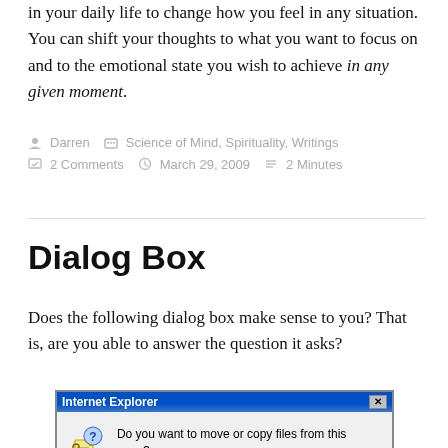in your daily life to change how you feel in any situation. You can shift your thoughts to what you want to focus on and to the emotional state you wish to achieve in any given moment.
Darren   Science of Mind, Spirituality, Writings   2 Comments   March 29, 2009   2 Minutes
Dialog Box
Does the following dialog box make sense to you? That is, are you able to answer the question it asks?
[Figure (screenshot): Internet Explorer dialog box asking 'Do you want to move or copy files from this zone?' with a padlock/question mark icon and a close button.]